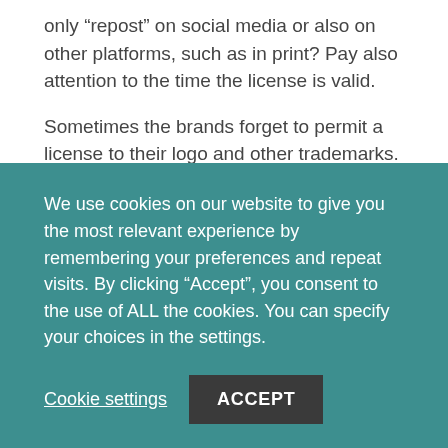only “repost” on social media or also on other platforms, such as in print? Pay also attention to the time the license is valid.
Sometimes the brands forget to permit a license to their logo and other trademarks. From the influencer’s point of view, in that case, there is a risk that the brand could accuse the influencer of trademark infringement if something goes wrong. From the brand’s point of view, it is never good practice to allow anyone to use your trademarks and logo without a license.
We use cookies on our website to give you the most relevant experience by remembering your preferences and repeat visits. By clicking “Accept”, you consent to the use of ALL the cookies. You can specify your choices in the settings.
Cookie settings | ACCEPT